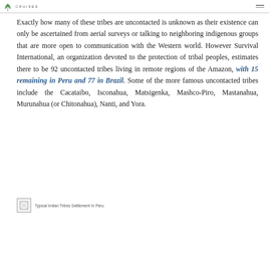CRUISES [logo with leaf icon and hamburger menu]
Exactly how many of these tribes are uncontacted is unknown as their existence can only be ascertained from aerial surveys or talking to neighboring indigenous groups that are more open to communication with the Western world. However Survival International, an organization devoted to the protection of tribal peoples, estimates there to be 92 uncontacted tribes living in remote regions of the Amazon, with 15 remaining in Peru and 77 in Brazil. Some of the more famous uncontacted tribes include the Cacataibo, Isconahua, Matsigenka, Mashco-Piro, Mastanahua, Murunahua (or Chitonahua), Nanti, and Yora.
[Figure (photo): Typical Indian Tribes Settlement In Peru — broken/unloaded image placeholder]